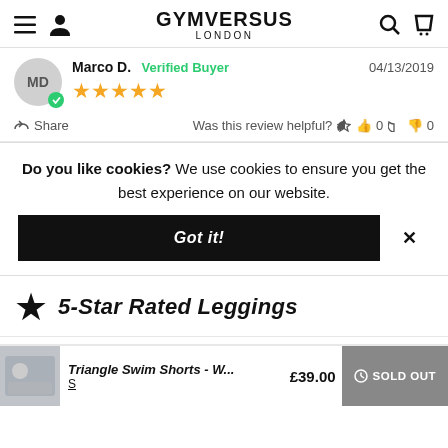GYMVERSUS LONDON
Marco D. Verified Buyer 04/13/2019 ★★★★★
Share Was this review helpful? 👍 0 👎 0
Do you like cookies? We use cookies to ensure you get the best experience on our website.
Got it! ×
★ 5-Star Rated Leggings
Triangle Swim Shorts - W... S £39.00 SOLD OUT